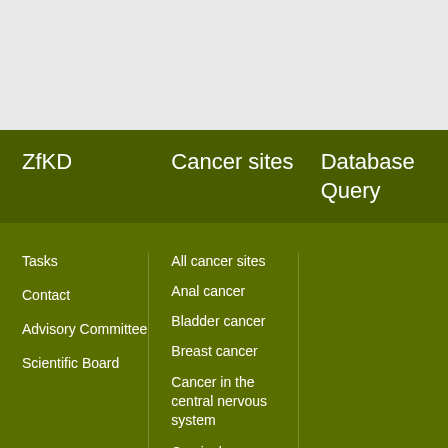ZfKD
Cancer sites
Database Query
Tasks
Contact
Advisory Committee
Scientific Board
All cancer sites
Anal cancer
Bladder cancer
Breast cancer
Cancer in the central nervous system
Cervical cancer
Colorectal cancer